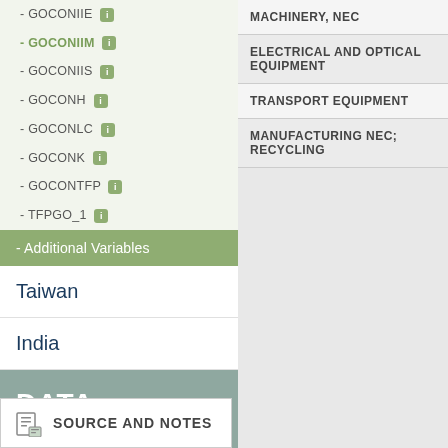- GOCONIIE [i]
- GOCONIIM [i]
- GOCONIIS [i]
- GOCONH [i]
- GOCONLC [i]
- GOCONK [i]
- GOCONTFP [i]
- TFPGO_1 [i]
- Additional Variables
Taiwan
India
DATA ARCHIVE
SOURCE AND NOTES
| MACHINERY, NEC |
| ELECTRICAL AND OPTICAL EQUIPMENT |
| TRANSPORT EQUIPMENT |
| MANUFACTURING NEC; RECYCLING |